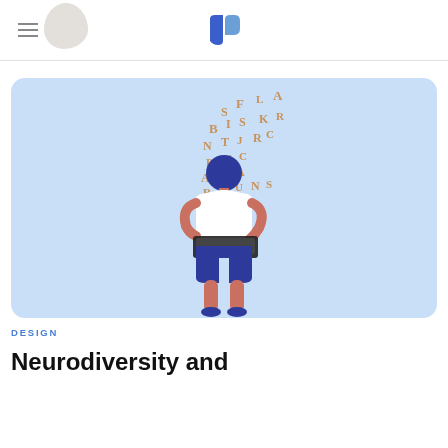DESIGN | Neurodiversity and
[Figure (illustration): Illustration of a person standing and holding a laptop/tablet device, with scattered letters (S, F, L, A, B, I, S, K, N, T, J, R, P, K, C, A, D, A, R, O, U, N, Z, H, N) floating upward above them. The person wears a white shirt and blue shorts. Background is light blue, rounded rectangle card.]
DESIGN
Neurodiversity and